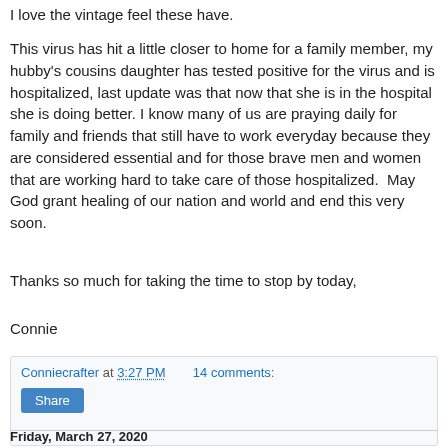I love the vintage feel these have.
This virus has hit a little closer to home for a family member, my hubby's cousins daughter has tested positive for the virus and is hospitalized, last update was that now that she is in the hospital she is doing better. I know many of us are praying daily for family and friends that still have to work everyday because they are considered essential and for those brave men and women that are working hard to take care of those hospitalized.  May God grant healing of our nation and world and end this very soon.
Thanks so much for taking the time to stop by today,
Connie
Conniecrafter at 3:27 PM   14 comments:
Share
Friday, March 27, 2020